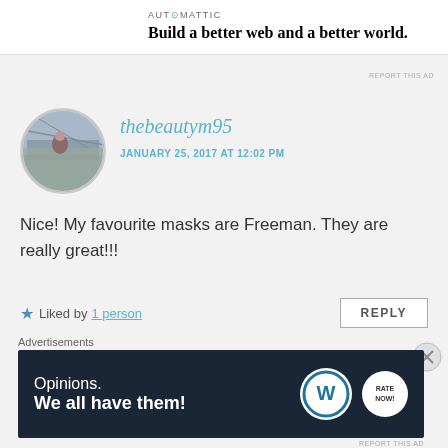[Figure (logo): Automattic logo and tagline: 'Build a better web and a better world.']
REPORT THIS AD
[Figure (photo): Circular avatar photo of user thebeautym95 showing a person on a bridge]
thebeautym95
JANUARY 25, 2017 AT 12:02 PM
Nice! My favourite masks are Freeman. They are really great!!!
★ Liked by 1 person
REPLY
LEAVE A REPLY
Your email address will not be published. Required fields
Advertisements
[Figure (screenshot): Dark navy advertisement banner: 'Opinions. We all have them!' with WordPress and Ratings logos]